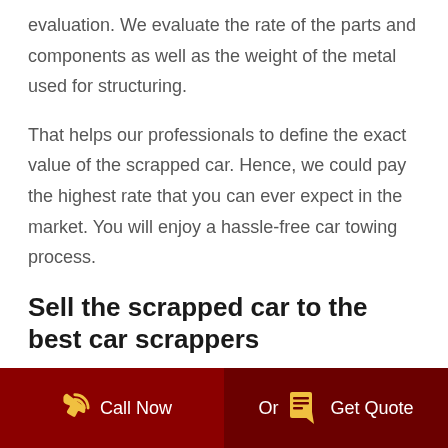evaluation. We evaluate the rate of the parts and components as well as the weight of the metal used for structuring.
That helps our professionals to define the exact value of the scrapped car. Hence, we could pay the highest rate that you can ever expect in the market. You will enjoy a hassle-free car towing process.
Sell the scrapped car to the best car scrappers
We are the best car scrappers you can trust in Brisbane for attaining the best price and hassle-free towing service. We have been running successfully in the field for years.
Call Now   Or   Get Quote